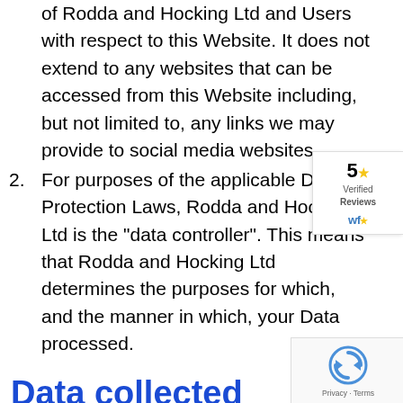of Rodda and Hocking Ltd and Users with respect to this Website. It does not extend to any websites that can be accessed from this Website including, but not limited to, any links we may provide to social media websites.
2. For purposes of the applicable Data Protection Laws, Rodda and Hocking Ltd is the “data controller”. This means that Rodda and Hocking Ltd determines the purposes for which, and the manner in which, your Data processed.
Data collected
1. We may collect the following data via our website which includes personal Data from